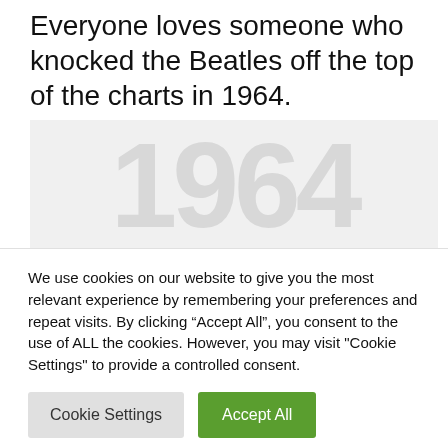Everyone loves someone who knocked the Beatles off the top of the charts in 1964.
[Figure (other): Large faded numerals '1964' displayed as a watermark-style background image in light gray]
We use cookies on our website to give you the most relevant experience by remembering your preferences and repeat visits. By clicking “Accept All”, you consent to the use of ALL the cookies. However, you may visit "Cookie Settings" to provide a controlled consent.